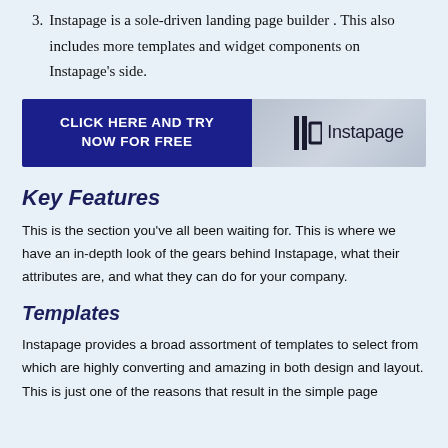3. Instapage is a sole-driven landing page builder . This also includes more templates and widget components on Instapage’s side.
[Figure (other): Banner advertisement: left side is dark blue with white bold text 'CLICK HERE AND TRY NOW FOR FREE', right side shows the Instapage logo on a grey background with a blurred office photo behind it.]
Key Features
This is the section you’ve all been waiting for. This is where we have an in-depth look of the gears behind Instapage, what their attributes are, and what they can do for your company.
Templates
Instapage provides a broad assortment of templates to select from which are highly converting and amazing in both design and layout. This is just one of the reasons that result in the simple page